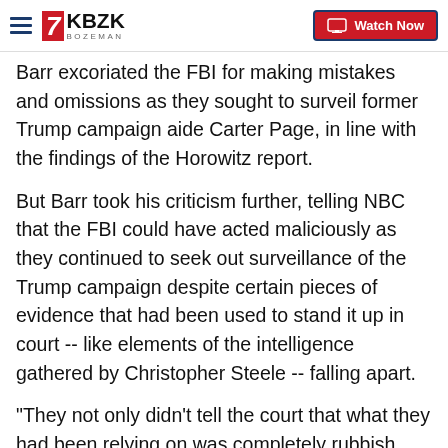7KBZK BOZEMAN | Watch Now
Barr excoriated the FBI for making mistakes and omissions as they sought to surveil former Trump campaign aide Carter Page, in line with the findings of the Horowitz report.
But Barr took his criticism further, telling NBC that the FBI could have acted maliciously as they continued to seek out surveillance of the Trump campaign despite certain pieces of evidence that had been used to stand it up in court -- like elements of the intelligence gathered by Christopher Steele -- falling apart.
"They not only didn't tell the court that what they had been relying on was completely rubbish, they actually started putting in things to bolster the Steele report,"